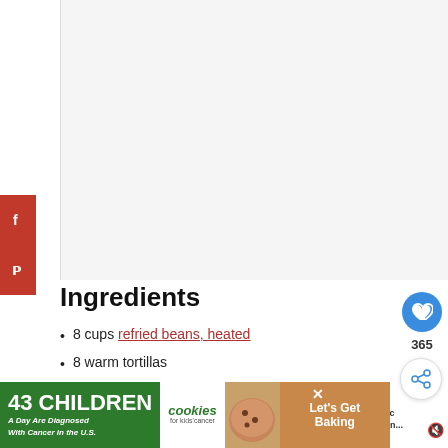[Figure (other): Top image area, mostly white/light gray (image not loaded)]
Ingredients
8 cups refried beans, heated
8 warm tortillas
4 cups cotija cheese
[Figure (other): Advertisement banner: 43 CHILDREN A Day Are Diagnosed With Cancer in the U.S. cookies for kids cancer - Let's Get Baking]